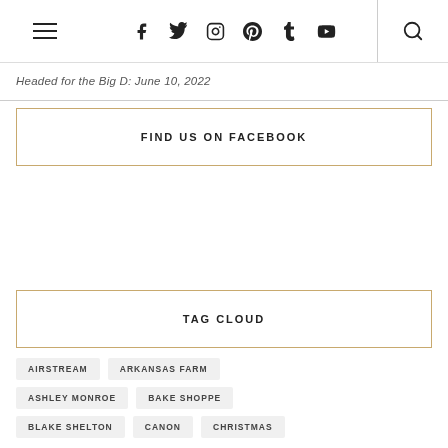Navigation header with hamburger menu, social icons (Facebook, Twitter, Instagram, Pinterest, Tumblr, YouTube), and search icon
Headed for the Big D: June 10, 2022
FIND US ON FACEBOOK
TAG CLOUD
AIRSTREAM
ARKANSAS FARM
ASHLEY MONROE
BAKE SHOPPE
BLAKE SHELTON
CANON
CHRISTMAS